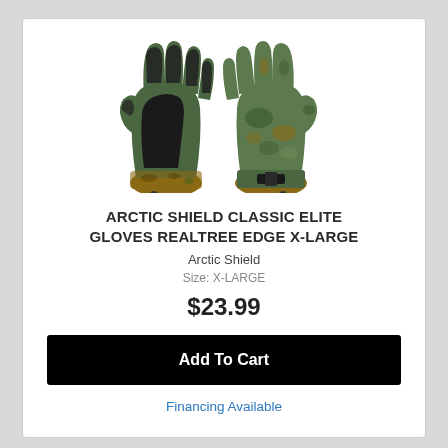[Figure (photo): Two camouflage hunting gloves (Arctic Shield Classic Elite Gloves in Realtree Edge pattern). The left glove shows the palm/grip side with black reinforced fingers and olive green palm. The right glove shows the back with camouflage pattern and olive green wrist strap with black clip.]
ARCTIC SHIELD CLASSIC ELITE GLOVES REALTREE EDGE X-LARGE
Arctic Shield
Size: X-LARGE
$23.99
Add To Cart
Financing Available